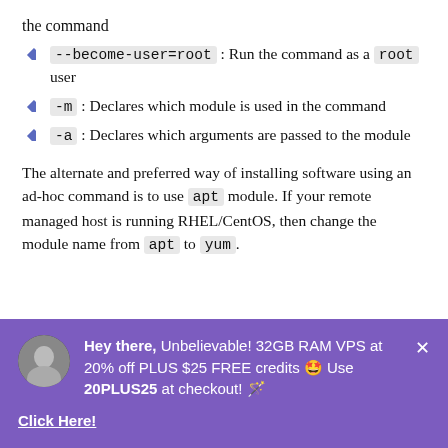the command
--become-user=root : Run the command as a root user
-m : Declares which module is used in the command
-a : Declares which arguments are passed to the module
The alternate and preferred way of installing software using an ad-hoc command is to use apt module. If your remote managed host is running RHEL/CentOS, then change the module name from apt to yum.
[Figure (infographic): Advertisement banner with purple background. Profile photo of a person, text: Hey there, Unbelievable! 32GB RAM VPS at 20% off PLUS $25 FREE credits 🤩 Use 20PLUS25 at checkout! 🪄. Click Here! link with underline.]